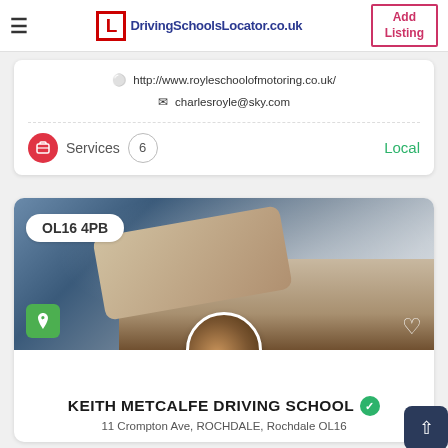DrivingSchoolsLocator.co.uk — Add Listing
http://www.royleschoolofmotoring.co.uk/
charlesroyle@sky.com
Services  6  Local
[Figure (photo): Listing card for Keith Metcalfe Driving School with car interior photo, postcode badge OL16 4PB, location icon, heart icon, and circular avatar]
KEITH METCALFE DRIVING SCHOOL
11 Crompton Ave, ROCHDALE, Rochdale OL16